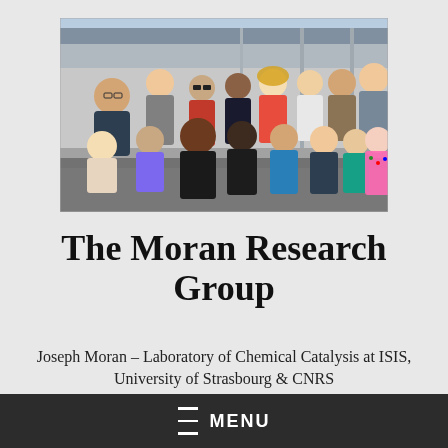[Figure (photo): Group photo of the Moran Research Group members posed on a rooftop or outdoor terrace. Multiple researchers standing and sitting, some wearing casual clothes. Building structures and sky visible in the background.]
The Moran Research Group
Joseph Moran – Laboratory of Chemical Catalysis at ISIS, University of Strasbourg & CNRS
≡ MENU